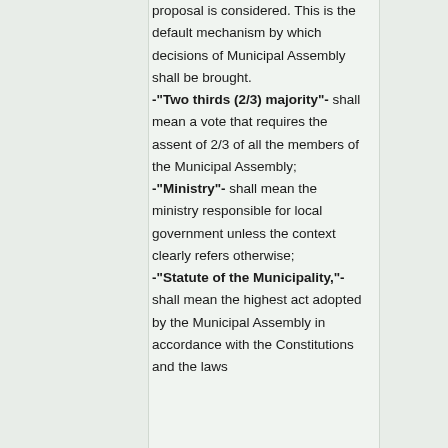proposal is considered. This is the default mechanism by which decisions of Municipal Assembly shall be brought. -"Two thirds (2/3) majority"- shall mean a vote that requires the assent of 2/3 of all the members of the Municipal Assembly; -"Ministry"- shall mean the ministry responsible for local government unless the context clearly refers otherwise; -"Statute of the Municipality,"- shall mean the highest act adopted by the Municipal Assembly in accordance with the Constitutions and the laws